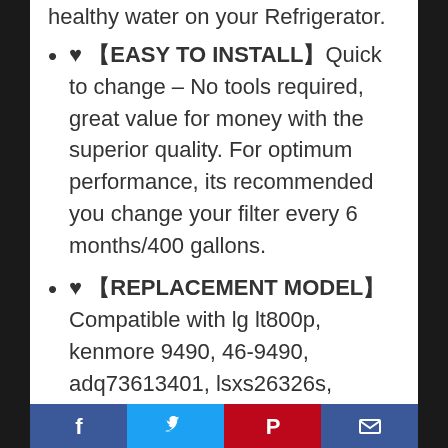healthy water on your Refrigerator.
♥ 【EASY TO INSTALL】Quick to change – No tools required, great value for money with the superior quality. For optimum performance, its recommended you change your filter every 6 months/400 gallons.
♥ 【REPLACEMENT MODEL】 Compatible with lg lt800p, kenmore 9490, 46-9490, adq73613401, lsxs26326s, lmxc23746s, adq73613402, lmxc23746D, wf lt800p, kenmore elite 46-9490, aqf-lt800p, aquacrest lt800p, wdp-lt800p, maxblue lt800p,icepure